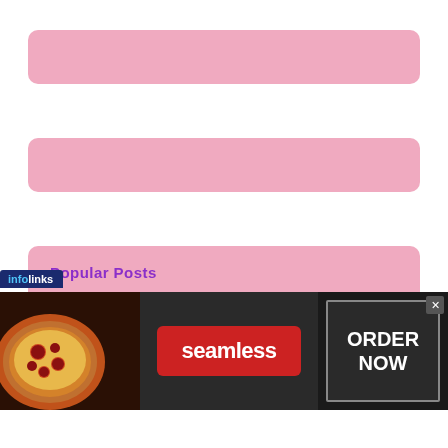[Figure (other): Pink rounded rectangle bar (decorative placeholder), top]
[Figure (other): Pink rounded rectangle bar (decorative placeholder), middle]
Popular Posts
Why Bank Brokers are Slower and More Cumbersome than Direct Lenders
Day Trading: Where Survival Depends on Looking before You Leap
[Figure (other): Infolinks advertisement banner for Seamless food delivery: pizza image on left, red Seamless badge in center, ORDER NOW button on right with close X button]